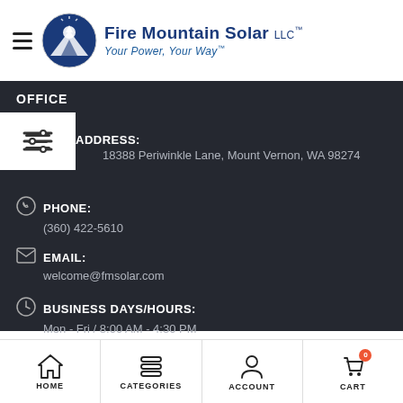[Figure (logo): Fire Mountain Solar LLC logo with mountain/sun circle icon and tagline 'Your Power, Your Way']
OFFICE
ADDRESS:
18388 Periwinkle Lane, Mount Vernon, WA 98274
PHONE:
(360) 422-5610
EMAIL:
welcome@fmsolar.com
BUSINESS DAYS/HOURS:
Mon - Fri / 8:00 AM - 4:30 PM
[Figure (infographic): Social media icons: Facebook, Instagram, LinkedIn]
HOME | CATEGORIES | ACCOUNT | CART (0)